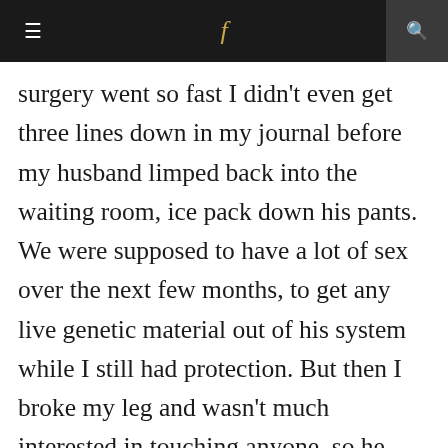≡  f  🔍
surgery went so fast I didn't even get three lines down in my journal before my husband limped back into the waiting room, ice pack down his pants. We were supposed to have a lot of sex over the next few months, to get any live genetic material out of his system while I still had protection. But then I broke my leg and wasn't much interested in touching anyone, so he was left to his own devices. When he took a sample to the lab three months later, he was deemed sterile. I didn't grieve then, either. So why can't I get out of the car?